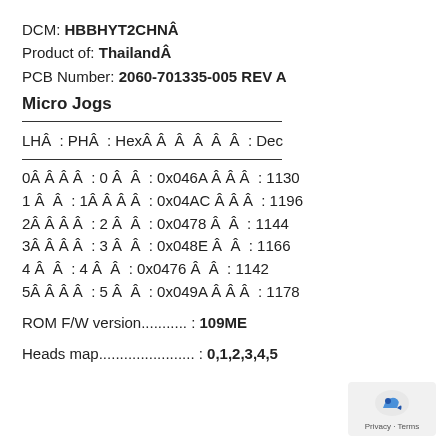DCM: HBBHYT2CHNÂ
Product of: ThailandÂ
PCB Number: 2060-701335-005 REV A
Micro Jogs
LHÂ  : PHÂ  : HexÂ Â  Â  Â  Â  Â  : Dec
0Â Â Â Â  : 0 Â  Â  : 0x046A Â Â Â  : 1130
1 Â  Â  : 1Â Â Â Â  : 0x04AC Â Â Â  : 1196
2Â Â Â Â  : 2 Â  Â  : 0x0478 Â  Â  : 1144
3Â Â Â Â  : 3 Â  Â  : 0x048E Â  Â  : 1166
4 Â  Â  : 4 Â  Â  : 0x0476 Â  Â  : 1142
5Â Â Â Â  : 5 Â  Â  : 0x049A Â Â Â  : 1178
ROM F/W version........... : 109ME
Heads map....................... : 0,1,2,3,4,5